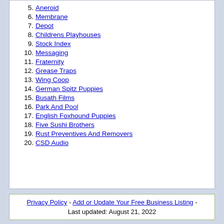5. Aneroid
6. Membrane
7. Depot
8. Childrens Playhouses
9. Stock Index
10. Messaging
11. Fraternity
12. Grease Traps
13. Wing Coop
14. German Spitz Puppies
15. Busath Films
16. Park And Pool
17. English Foxhound Puppies
18. Five Sushi Brothers
19. Rust Preventives And Removers
20. CSD Audio
Privacy Policy - Add or Update Your Free Business Listing - Last updated: August 21, 2022